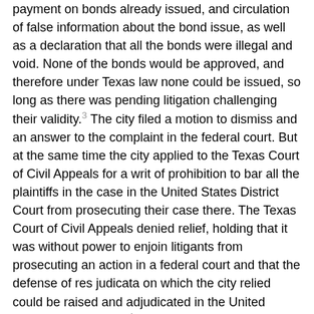payment on bonds already issued, and circulation of false information about the bond issue, as well as a declaration that all the bonds were illegal and void. None of the bonds would be approved, and therefore under Texas law none could be issued, so long as there was pending litigation challenging their validity.³ The city filed a motion to dismiss and an answer to the complaint in the federal court. But at the same time the city applied to the Texas Court of Civil Appeals for a writ of prohibition to bar all the plaintiffs in the case in the United States District Court from prosecuting their case there. The Texas Court of Civil Appeals denied relief, holding that it was without power to enjoin litigants from prosecuting an action in a federal court and that the defense of res judicata on which the city relied could be raised and adjudicated in the United States District Court.⁴ On petition for mandamus the Supreme Court of Texas took a different view, however, held it the duty of the Court of Civil Appeals to prohibit the litigants from further prosecuting the United States District Court case, and stated that a writ of mandamus would issue should the Court of Civil Appeals fail to perform this duty.⁵ The Court of Civil Appeals promptly issued a writ prohibiting all the plaintiffs in the United States District Court case from any further prosecution of that case and enjoined them 'individually and as a class * * * from filing or instituting * * * any further litigation, law suits